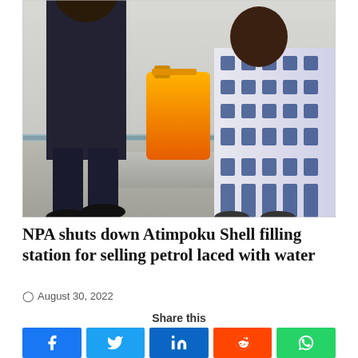[Figure (photo): Two people standing indoors, one in dark trousers and black shoes, another in blue and white patterned outfit. An orange jerrycan is visible in the background.]
NPA shuts down Atimpoku Shell filling station for selling petrol laced with water
August 30, 2022
Share this
[Figure (infographic): Social media share buttons: Facebook, Twitter, LinkedIn, Reddit, WhatsApp]